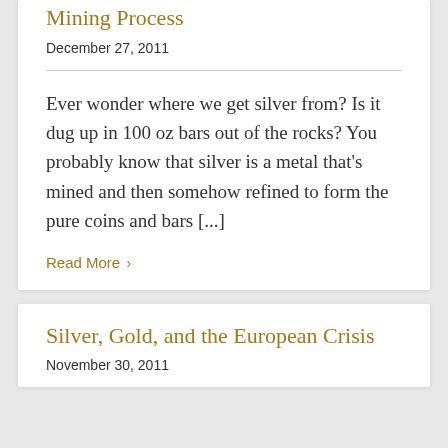Mining Process
December 27, 2011
Ever wonder where we get silver from? Is it dug up in 100 oz bars out of the rocks? You probably know that silver is a metal that's mined and then somehow refined to form the pure coins and bars [...]
Read More >
Silver, Gold, and the European Crisis
November 30, 2011